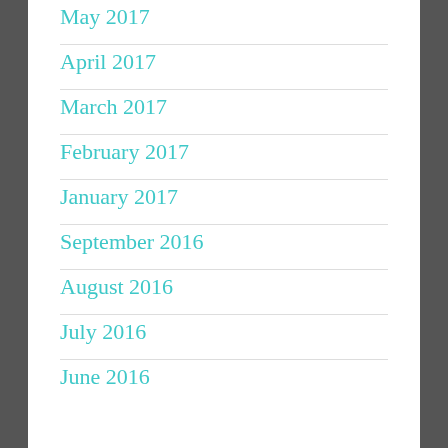May 2017
April 2017
March 2017
February 2017
January 2017
September 2016
August 2016
July 2016
June 2016